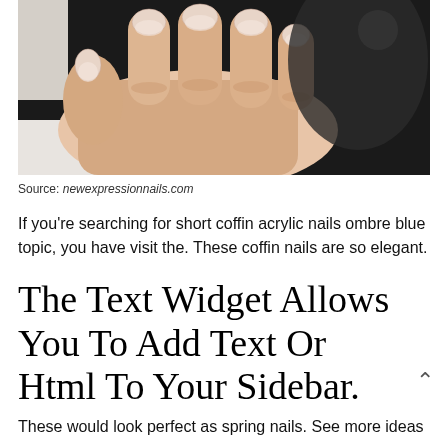[Figure (photo): Close-up photo of a hand with natural unpolished fingernails resting on a shiny black surface]
Source: newexpressionnails.com
If you're searching for short coffin acrylic nails ombre blue topic, you have visit the. These coffin nails are so elegant.
The Text Widget Allows You To Add Text Or Html To Your Sidebar.
These would look perfect as spring nails. See more ideas